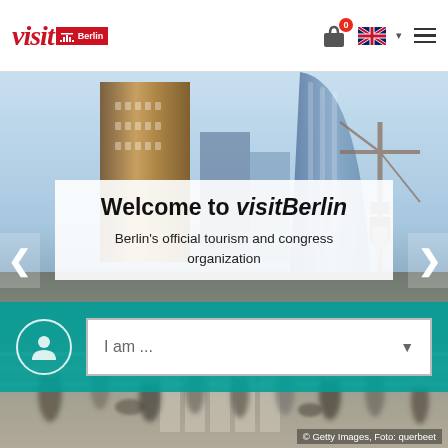[Figure (screenshot): visitBerlin website header with logo, navigation icons (bag with badge 0, UK flag, dropdown chevron, hamburger menu)]
[Figure (photo): Hero background photo of Berlin cityscape with modern glass skyscrapers and busy pedestrian crosswalk in foreground, blurred motion]
Welcome to visitBerlin
Berlin's official tourism and congress organization
[Figure (screenshot): Teal bar with user icon circle and 'I am ...' dropdown selector]
© Getty Images, Foto: querbeet